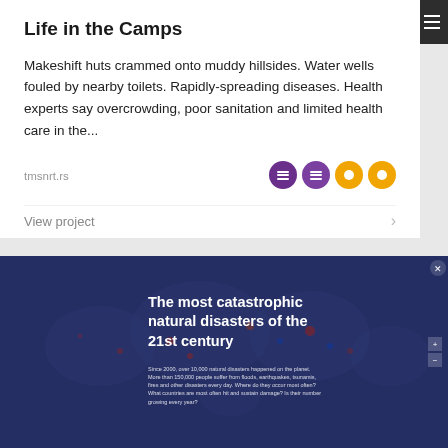Life in the Camps
Makeshift huts crammed onto muddy hillsides. Water wells fouled by nearby toilets. Rapidly-spreading diseases. Health experts say overcrowding, poor sanitation and limited health care in the...
tmsnrt.rs
View project
[Figure (screenshot): Screenshot of a web page showing a dark blue world map visualization titled 'The most catastrophic natural disasters of the 21st century' with a subtitle paragraph about natural disasters since 2000.]